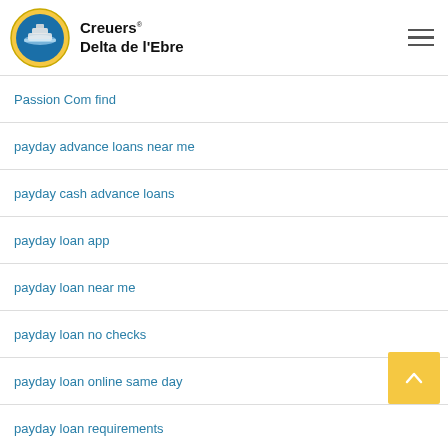Creuers Delta de l'Ebre
Passion Com find
payday advance loans near me
payday cash advance loans
payday loan app
payday loan near me
payday loan no checks
payday loan online same day
payday loan requirements